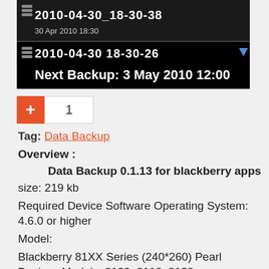[Figure (screenshot): BlackBerry device backup app screenshot showing two backup entries: '2010-04-30_18-30-38' dated '30 Apr 2010 18:30' and '2010-04-30 18-30-26' with 'Next Backup: 3 May 2010 12:00']
+ 1
Tag: Data Backup
Overview :
Data Backup 0.1.13 for blackberry apps
size: 219 kb
Required Device Software Operating System: 4.6.0 or higher
Model:
Blackberry 81XX Series (240*260) Pearl Devices Models: 8100, 8110, 8120, 8130/Blackberry 82XX Series (240*320) Pearl Flip Devices Models: 8200,